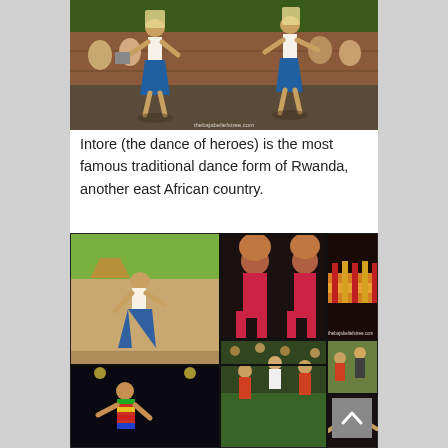[Figure (photo): Two dancers performing Intore dance in blue garments with headdresses, outdoors on a paved surface with spectators in background. Watermark: thebajabeliefstree.com]
Intore (the dance of heroes) is the most famous traditional dance form of Rwanda, another east African country.
[Figure (photo): Collage of multiple photos showing Rwandan Intore dancers: solo dancer in blue skirt, performers in pink robes balancing objects on heads, row of dancers in colorful costumes, nighttime performance scene, group outdoors, and solo dancer in colorful outfit. Watermark: thebajabeliefstree.com]